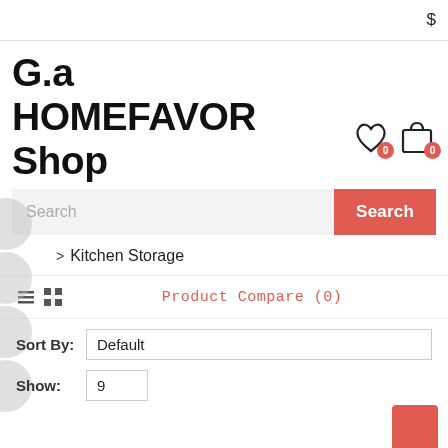$
G.a HOMEFAVOR Shop
[Figure (other): Wishlist icon with badge 0 and shopping bag icon with badge 0]
[Figure (other): Search input field with Search button]
> Kitchen Storage
Product Compare (0)
Sort By: Default
Show: 9